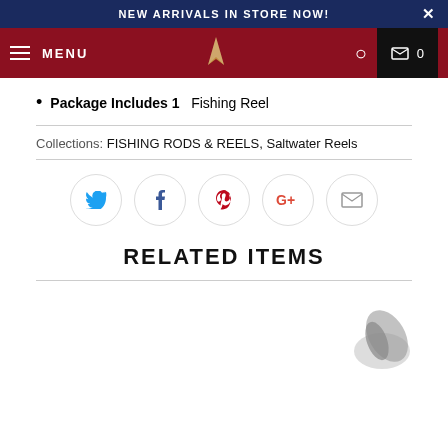NEW ARRIVALS IN STORE NOW!
MENU
Package Includes 1  Fishing Reel
Collections: FISHING RODS & REELS, Saltwater Reels
[Figure (other): Social share buttons: Twitter, Facebook, Pinterest, Google+, Email]
RELATED ITEMS
[Figure (photo): Partial image of a fishing reel product in the related items section]